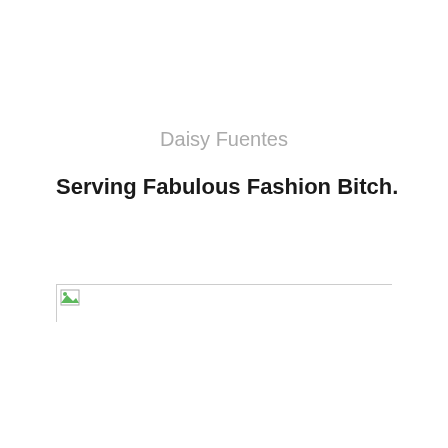Daisy Fuentes
Serving Fabulous Fashion Bitch.
[Figure (other): A broken/unloaded image placeholder shown as a rectangular box with a small broken image icon in the top-left corner]